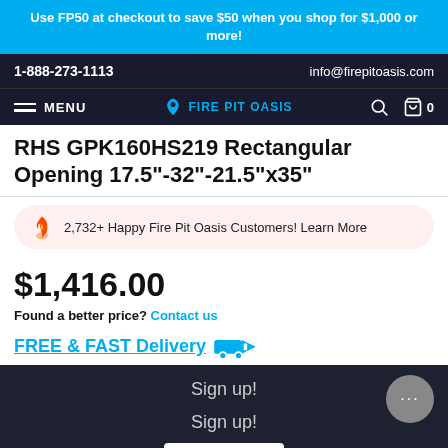Use FP50 at checkout to save $50 when you shop for $1,000 or more!
1-888-273-1113    info@firepitoasis.com
MENU  FIRE PIT OASIS  🔍  🛒 0
RHS GPK160HS219 Rectangular Opening 17.5"-32"-21.5"x35"
2,732+ Happy Fire Pit Oasis Customers! Learn More
$1,416.00
Found a better price? Contact us
FREE & FAST Delivery
Sign up!
Sign up!
[Figure (logo): TrustedSite badge with green checkmark]